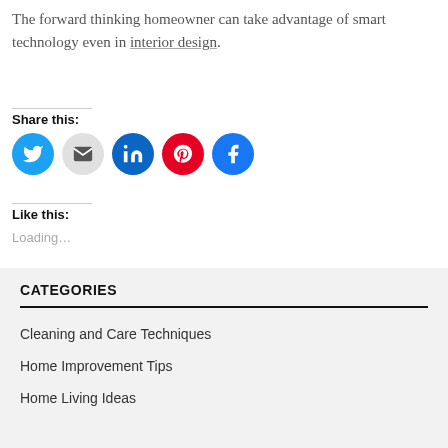The forward thinking homeowner can take advantage of smart technology even in interior design.
Share this:
[Figure (infographic): Row of five social sharing icon circles: Twitter (blue), Email (gray), LinkedIn (dark blue), Pinterest (red), Facebook (blue)]
Like this:
Loading...
CATEGORIES
Cleaning and Care Techniques
Home Improvement Tips
Home Living Ideas